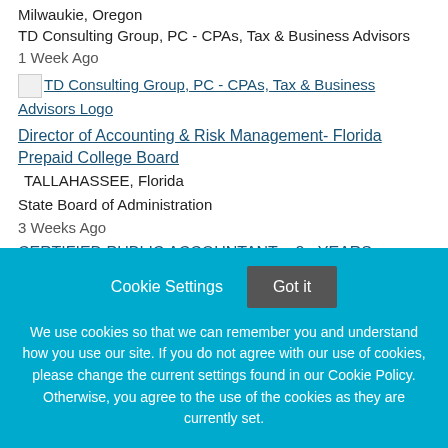Milwaukie, Oregon
TD Consulting Group, PC - CPAs, Tax & Business Advisors
1 Week Ago
[Figure (logo): TD Consulting Group, PC - CPAs, Tax & Business Advisors Logo (image link)]
Director of Accounting & Risk Management- Florida Prepaid College Board
TALLAHASSEE, Florida
State Board of Administration
3 Weeks Ago
CERTIFIED PUBLIC ACCOUNTANT – 8+ YEARS EXPERIENCE
Cookie Settings  Got it

We use cookies so that we can remember you and understand how you use our site. If you do not agree with our use of cookies, please change the current settings found in our Cookie Policy. Otherwise, you agree to the use of the cookies as they are currently set.